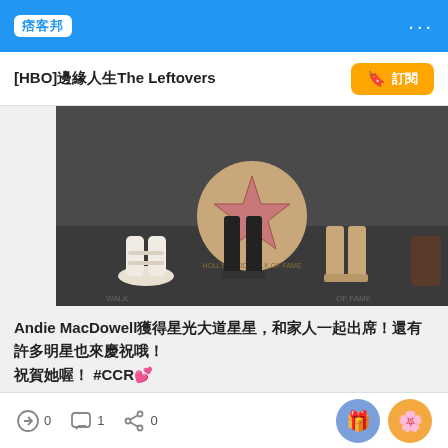痞客邦
[HBO]邊緣人生The Leftovers
[Figure (photo): Close-up photo of feet on a Hollywood Walk of Fame star, multiple people standing around a star on the ground]
Andie MacDowell獲得星光大道星星，和家人一起出席！還有許多明星也來慶祝哦！ #CCR💕
[Figure (photo): Family photo at a red carpet event: a man in dark suit with four women with long hair, YATES sign visible in background]
🔗0  💬1  ↗0